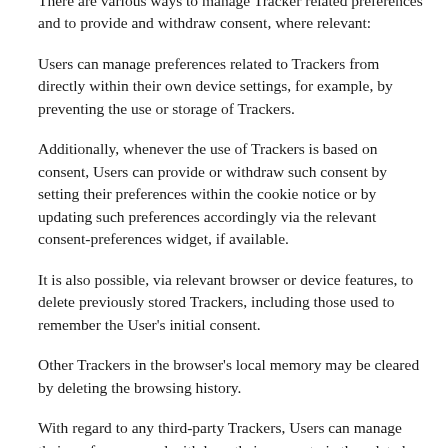There are various ways to manage Tracker related preferences and to provide and withdraw consent, where relevant:
Users can manage preferences related to Trackers from directly within their own device settings, for example, by preventing the use or storage of Trackers.
Additionally, whenever the use of Trackers is based on consent, Users can provide or withdraw such consent by setting their preferences within the cookie notice or by updating such preferences accordingly via the relevant consent-preferences widget, if available.
It is also possible, via relevant browser or device features, to delete previously stored Trackers, including those used to remember the User's initial consent.
Other Trackers in the browser's local memory may be cleared by deleting the browsing history.
With regard to any third-party Trackers, Users can manage their preferences and withdraw their consent via the related opt-out link (where provided), by using the means indicated in the third